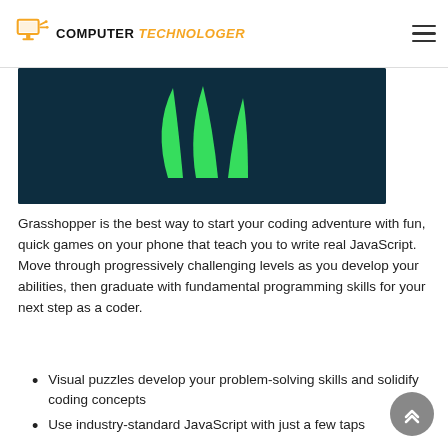COMPUTER TECHNOLOGER
[Figure (screenshot): Dark navy background with green neon grass/plant graphic (Grasshopper app logo/screenshot)]
Grasshopper is the best way to start your coding adventure with fun, quick games on your phone that teach you to write real JavaScript. Move through progressively challenging levels as you develop your abilities, then graduate with fundamental programming skills for your next step as a coder.
Visual puzzles develop your problem-solving skills and solidify coding concepts
Use industry-standard JavaScript with just a few taps